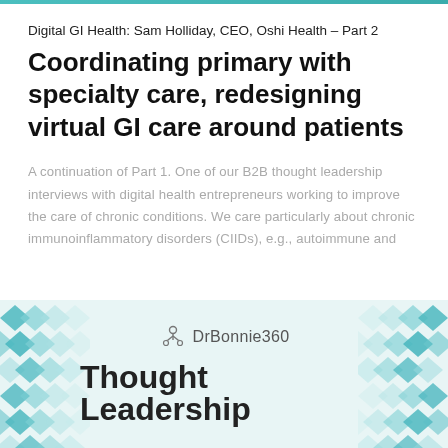Digital GI Health: Sam Holliday, CEO, Oshi Health – Part 2
Coordinating primary with specialty care, redesigning virtual GI care around patients
A continuation of Part 1. One of our B2B thought leadership interviews with digital health entrepreneurs working to improve the care of chronic conditions. We care particularly about chronic immunoinflammatory disorders (CIIDs), e.g., autoimmune and
[Figure (logo): DrBonnie360 Thought Leadership banner with teal diamond pattern background and logo]